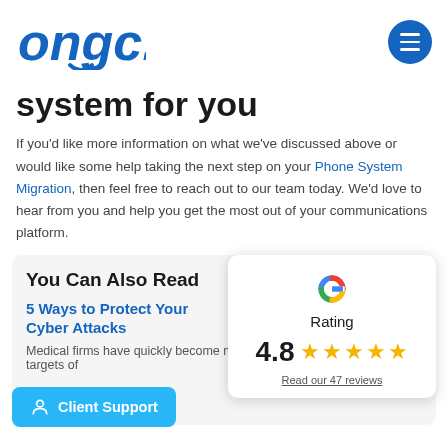[Figure (logo): ongc. logo in blue italic bold font]
system for you
If you'd like more information on what we've discussed above or would like some help taking the next step on your Phone System Migration, then feel free to reach out to our team today. We'd love to hear from you and help you get the most out of your communications platform.
You Can Also Read
5 Ways to Protect Your Cyber Attacks
Medical firms have quickly become major targets of
[Figure (infographic): Google rating card showing 4.8 stars and 47 reviews]
Client Support